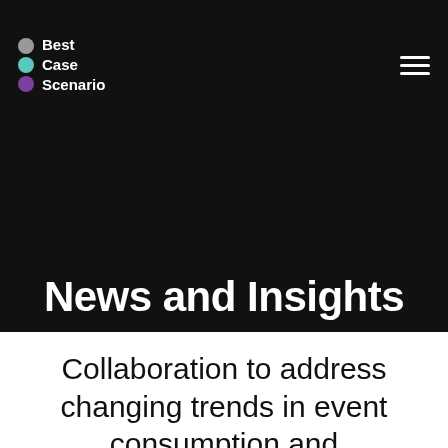Best Case Scenario
News and Insights
Collaboration to address changing trends in event consumption and